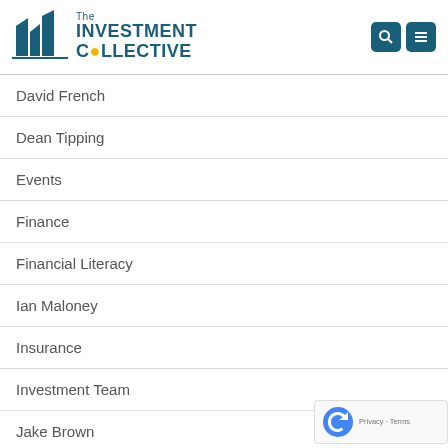[Figure (logo): The Investment Collective logo with teal building silhouette and yellow circle accent]
David French
Dean Tipping
Events
Finance
Financial Literacy
Ian Maloney
Insurance
Investment Team
Jake Brown